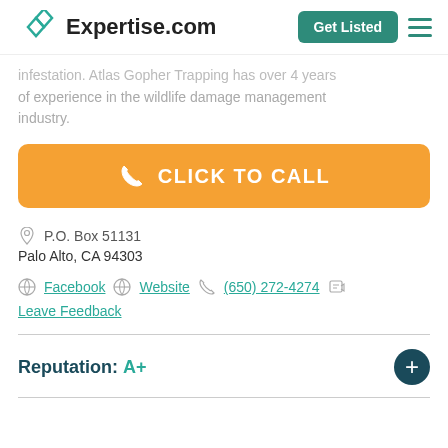Expertise.com | Get Listed
infestation. Atlas Gopher Trapping has over 4 years of experience in the wildlife damage management industry.
CLICK TO CALL
P.O. Box 51131
Palo Alto, CA 94303
Facebook | Website | (650) 272-4274
Leave Feedback
Reputation: A+